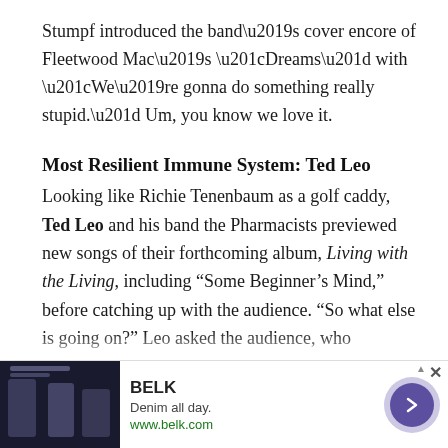Stumpf introduced the band’s cover encore of Fleetwood Mac’s “Dreams” with “We’re gonna do something really stupid.” Um, you know we love it.
Most Resilient Immune System: Ted Leo
Looking like Richie Tenenbaum as a golf caddy, Ted Leo and his band the Pharmacists previewed new songs of their forthcoming album, Living with the Living, including “Some Beginner’s Mind,” before catching up with the audience. “So what else is going on?” Leo asked the audience, who responded with a stunned “the most popular guy in school is talking to me” silence. “That was really good, you understood it was a rhetorical question.”
[Figure (other): Advertisement banner for BELK: Denim all day. www.belk.com with fashion imagery and a purple arrow button.]